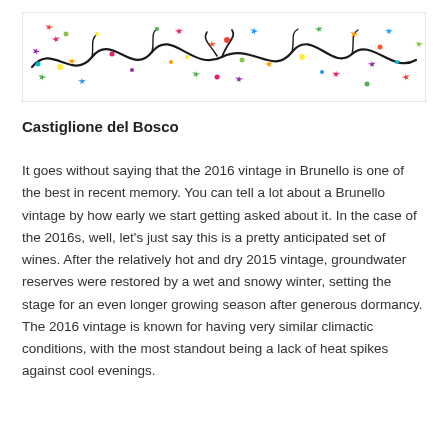[Figure (illustration): Decorative banner with colorful stars and swirling vine/floral motifs on a white background with a light border]
Castiglione del Bosco
It goes without saying that the 2016 vintage in Brunello is one of the best in recent memory. You can tell a lot about a Brunello vintage by how early we start getting asked about it. In the case of the 2016s, well, let’s just say this is a pretty anticipated set of wines. After the relatively hot and dry 2015 vintage, groundwater reserves were restored by a wet and snowy winter, setting the stage for an even longer growing season after generous dormancy. The 2016 vintage is known for having very similar climactic conditions, with the most standout being a lack of heat spikes against cool evenings.